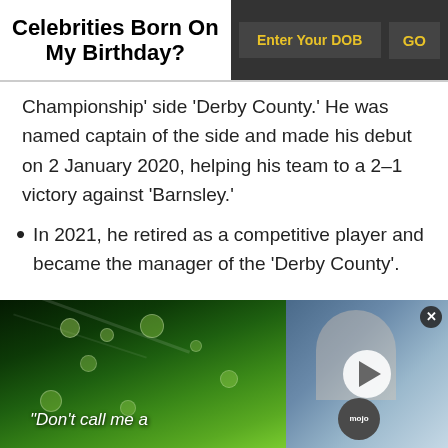Celebrities Born On My Birthday?
Championship' side 'Derby County.' He was named captain of the side and made his debut on 2 January 2020, helping his team to a 2–1 victory against 'Barnsley.'
In 2021, he retired as a competitive player and became the manager of the 'Derby County'.
[Figure (screenshot): Video advertisement showing green leaves with water droplets on the left half and a woman in a white coat on the right half. Text reads "Don't call me a" with a WatchMojo play button overlay.]